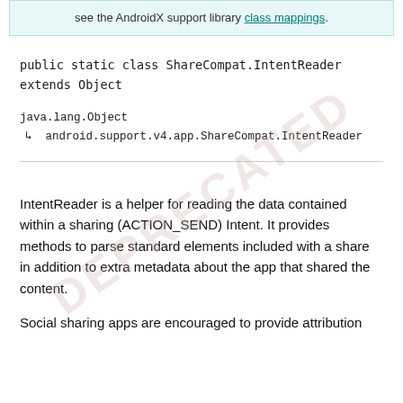see the AndroidX support library class mappings.
java.lang.Object
  ↳  android.support.v4.app.ShareCompat.IntentReader
IntentReader is a helper for reading the data contained within a sharing (ACTION_SEND) Intent. It provides methods to parse standard elements included with a share in addition to extra metadata about the app that shared the content.
Social sharing apps are encouraged to provide attribution